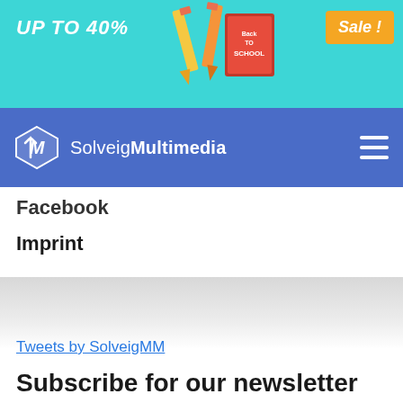[Figure (illustration): Back to School sale banner ad with teal background, 'UP TO 40%' text in white italic bold, Back to School badge, pencils and school items, and orange 'Sale!' badge]
[Figure (logo): SolveigMultimedia logo on blue/purple navigation bar with hamburger menu icon on the right]
Facebook
Imprint
Tweets by SolveigMM
Subscribe for our newsletter